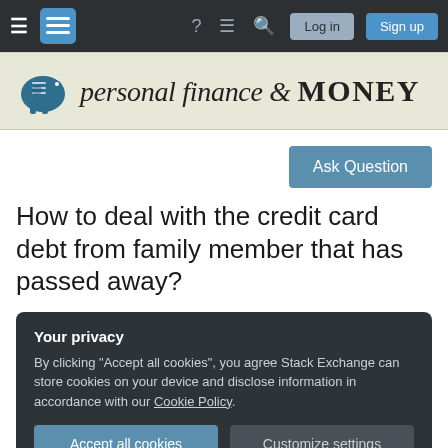Navigation bar with hamburger menu, Stack Exchange logo, help, chat, search icons, Log in and Sign up buttons
[Figure (logo): Personal Finance & MONEY Stack Exchange banner with piggy bank icon and stylized text]
Ask Question
How to deal with the credit card debt from family member that has passed away?
Your privacy
By clicking "Accept all cookies", you agree Stack Exchange can store cookies on your device and disclose information in accordance with our Cookie Policy.
Accept all cookies  Customize settings
only. The state that is happening in is New Jersey.